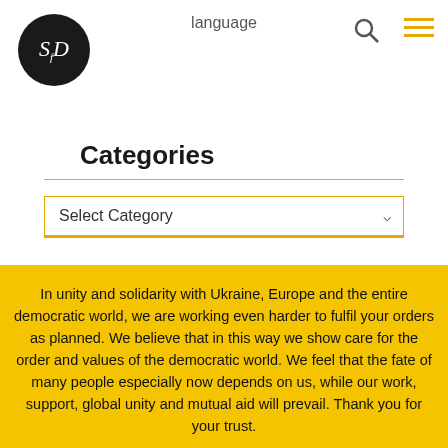[Figure (logo): Circular black logo with white italic letters SfD inside]
language
Categories
Select Category
In unity and solidarity with Ukraine, Europe and the entire democratic world, we are working even harder to fulfil your orders as planned. We believe that in this way we show care for the order and values of the democratic world. We feel that the fate of many people especially now depends on us, while our work, support, global unity and mutual aid will prevail. Thank you for your trust.